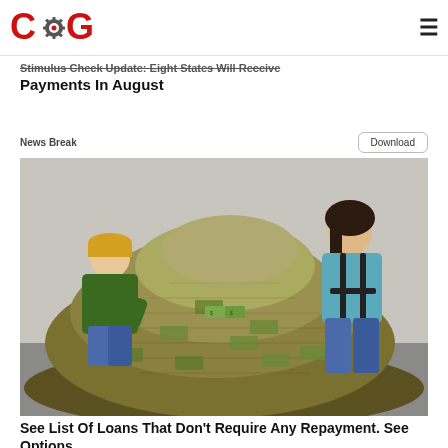COG logo and hamburger menu
Stimulus Check Update: Eight States Will Receive Payments In August
News Break
[Figure (photo): Two people smiling next to a large pile of US dollar bills/cash. A man in a green jacket and yellow cap kneels on the left holding a few bills; a woman in a teal sweater stands on the right.]
See List Of Loans That Don't Require Any Repayment. See Options